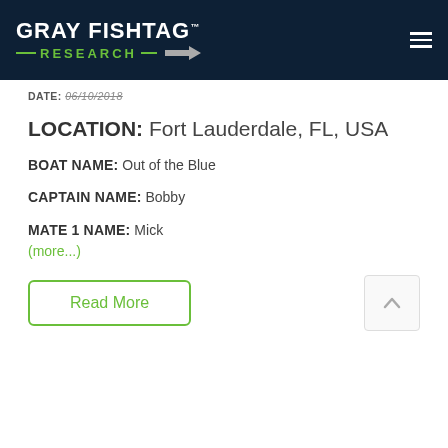[Figure (logo): Gray Fishtag Research logo on dark navy background with hamburger menu icon]
DATE: 06/10/2018
LOCATION: Fort Lauderdale, FL, USA
BOAT NAME: Out of the Blue
CAPTAIN NAME: Bobby
MATE 1 NAME: Mick
(more...)
Read More